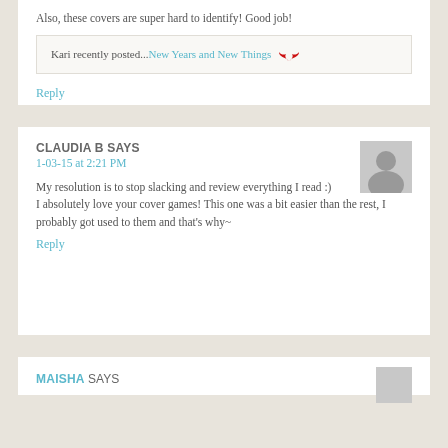Also, these covers are super hard to identify! Good job!
Kari recently posted...New Years and New Things
Reply
CLAUDIA B SAYS
1-03-15 at 2:21 PM
My resolution is to stop slacking and review everything I read :)
I absolutely love your cover games! This one was a bit easier than the rest, I probably got used to them and that's why~
Reply
MAISHA SAYS